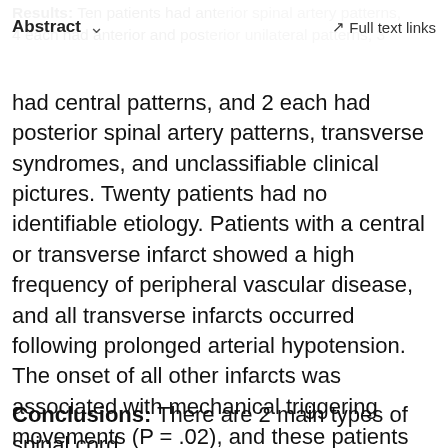Abstract   ∨   Full text links
Results: Ten patients had anterior spinal artery patterns, 4 each had anterior and posterior unilateral patterns, 3 had central patterns, and 2 each had posterior spinal artery patterns, transverse syndromes, and unclassifiable clinical pictures. Twenty patients had no identifiable etiology. Patients with a central or transverse infarct showed a high frequency of peripheral vascular disease, and all transverse infarcts occurred following prolonged arterial hypotension. The onset of all other infarcts was associated with mechanical triggering movements (P = .02), and these patients frequently had diseases of the spine (P = .003) at the level of the spinal lesion, with the clinical data suggesting root involvement at the level of the spinal cord lesion and pointing to mechanical injury of a radicular artery. The outcomes were favorable, with only 13 patients showing significant gait impairment on leaving the hospital.
Conclusions: There are 2 main types of spinal cord infarction: We outline the management of for all types of ...